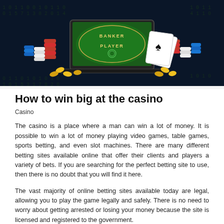[Figure (photo): Casino baccarat table with BANKER and PLAYER betting areas on green felt, surrounded by stacks of red, white, and blue casino chips, two playing cards (king of spades visible), and a laptop in the background, all set against a dark digital background with binary numbers.]
How to win big at the casino
Casino
The casino is a place where a man can win a lot of money. It is possible to win a lot of money playing video games, table games, sports betting, and even slot machines. There are many different betting sites available online that offer their clients and players a variety of bets. If you are searching for the perfect betting site to use, then there is no doubt that you will find it here.
The vast majority of online betting sites available today are legal, allowing you to play the game legally and safely. There is no need to worry about getting arrested or losing your money because the site is licensed and registered to the government.